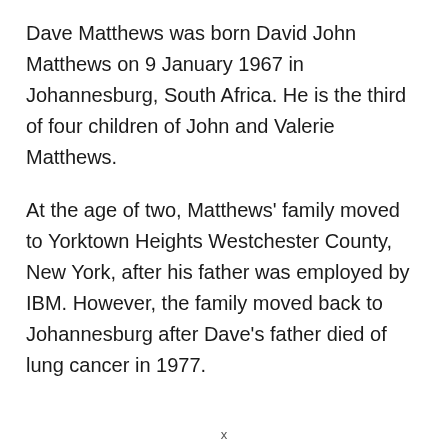Dave Matthews was born David John Matthews on 9 January 1967 in Johannesburg, South Africa. He is the third of four children of John and Valerie Matthews.
At the age of two, Matthews' family moved to Yorktown Heights Westchester County, New York, after his father was employed by IBM. However, the family moved back to Johannesburg after Dave's father died of lung cancer in 1977.